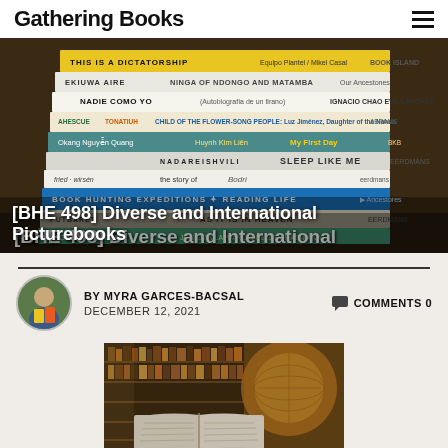Gathering Books
[Figure (photo): Stack of diverse and international picturebooks with colorful spines, overlaid with text 'BOOK HUNTING EXPEDITIONS + READING LIFE' and title '[BHE 498] Diverse and International Picturebooks']
[BHE 498] Diverse and International Picturebooks
BY MYRA GARCES-BACSAL   COMMENTS 0
DECEMBER 12, 2021
[Figure (photo): Open book with pages spread, in front of library shelves with warm golden lighting]